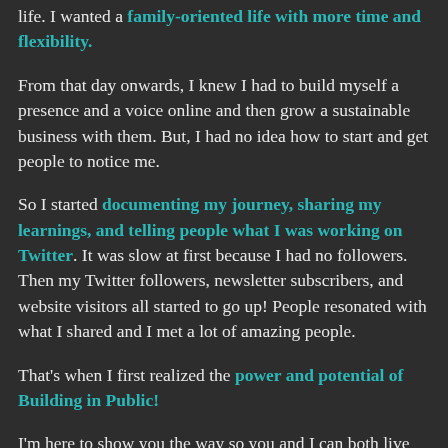life. I wanted a family-oriented life with more time and flexibility.
From that day onwards, I knew I had to build myself a presence and a voice online and then grow a sustainable business with them. But, I had no idea how to start and get people to notice me.
So I started documenting my journey, sharing my learnings, and telling people what I was working on Twitter. It was slow at first because I had no followers. Then my Twitter followers, newsletter subscribers, and website visitors all started to go up! People resonated with what I shared and I met a lot of amazing people.
That's when I first realized the power and potential of Building in Public!
I'm here to show you the way so you and I can both live the life we want.